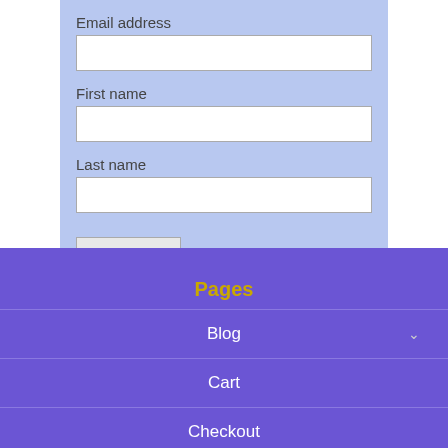Email address
First name
Last name
Subscribe
Pages
Blog
Cart
Checkout
Contact
Disclaimer